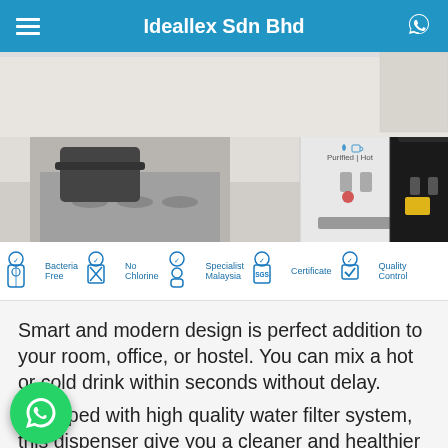Ideallex Sdn Bhd
[Figure (photo): Water dispenser / purifier products (silver and black models) on a kitchen countertop with stove in background. Icons showing 'Purified | Hot' labels on the units.]
[Figure (infographic): Feature icons row: Bacteria Free, No Chlorine, Specialist Malaysia, Certificate (SGS), Quality Control]
Smart and modern design is perfect addition to your room, office, or hostel. You can mix a hot or cold drink within seconds without delay.
Equipped with high quality water filter system, this dispenser give you a cleaner and healthier water for drinking and everyday usage.
[Figure (logo): WhatsApp floating button (green circle with WhatsApp phone/chat icon)]